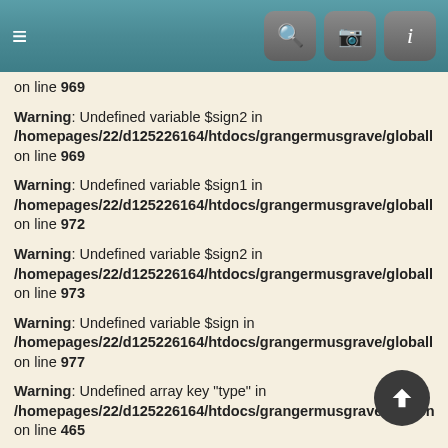[Figure (screenshot): Mobile app header bar with hamburger menu icon on left and search, camera, info icon buttons on right]
on line 969
Warning: Undefined variable $sign2 in /homepages/22/d125226164/htdocs/grangermusgrave/globallib.php on line 969
Warning: Undefined variable $sign1 in /homepages/22/d125226164/htdocs/grangermusgrave/globallib.php on line 972
Warning: Undefined variable $sign2 in /homepages/22/d125226164/htdocs/grangermusgrave/globallib.php on line 973
Warning: Undefined variable $sign in /homepages/22/d125226164/htdocs/grangermusgrave/globallib.php on line 977
Warning: Undefined array key "type" in /homepages/22/d125226164/htdocs/grangermusgrave/personlib.php on line 465
Warning: Undefined array key "date" in /homepages/22/d125226164/htdocs/grangermusgrave/personlib.php on line 487